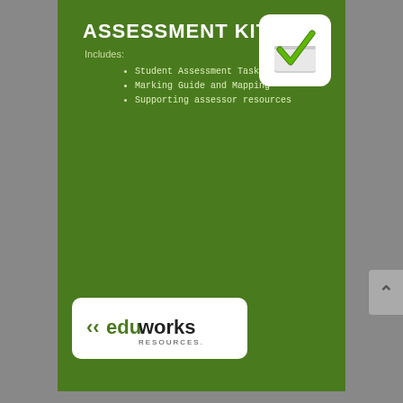ASSESSMENT KIT
Includes:
Student Assessment Tasks
Marking Guide and Mapping
Supporting assessor resources
[Figure (illustration): Checkbox icon with green checkmark on white rounded rectangle background]
[Figure (logo): Eduworks Resources logo on white rounded rectangle. Shows left-pointing arrows before 'edu' in dark green, 'works' in bold dark text, and 'RESOURCES.' below in smaller text.]